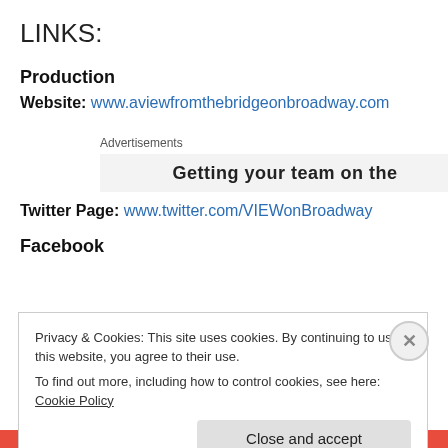LINKS:
Production
Website: www.aviewfromthebridgeonbroadway.com
[Figure (other): Advertisements banner showing partial text 'Getting your team on the']
Twitter Page: www.twitter.com/VIEWonBroadway
Facebook
Privacy & Cookies: This site uses cookies. By continuing to use this website, you agree to their use.
To find out more, including how to control cookies, see here: Cookie Policy
Close and accept